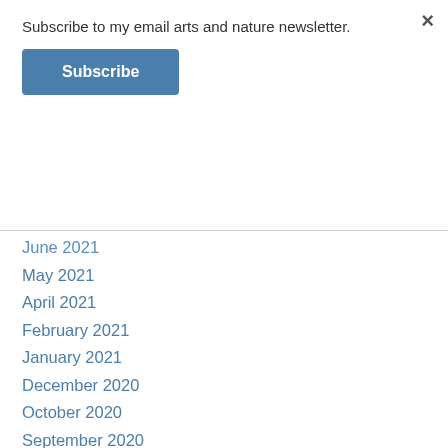Subscribe to my email arts and nature newsletter.
Subscribe
June 2021
May 2021
April 2021
February 2021
January 2021
December 2020
October 2020
September 2020
August 2020
July 2020
June 2020
May 2020
April 2020
March 2020
February 2020